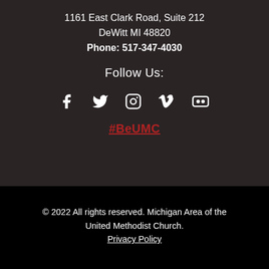1161 East Clark Road, Suite 212
DeWitt MI 48820
Phone: 517-347-4030
Follow Us:
[Figure (infographic): Row of five social media icons: Facebook, Twitter, Instagram, Vimeo, Flickr]
#BeUMC
© 2022 All rights reserved. Michigan Area of the United Methodist Church.
Privacy Policy